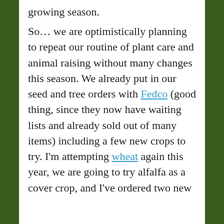growing season.

So… we are optimistically planning to repeat our routine of plant care and animal raising without many changes this season. We already put in our seed and tree orders with Fedco (good thing, since they now have waiting lists and already sold out of many items) including a few new crops to try. I'm attempting wheat again this year, we are going to try alfalfa as a cover crop, and I've ordered two new